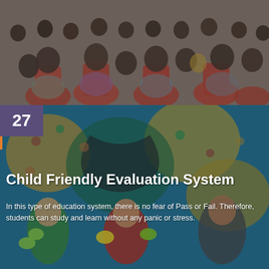[Figure (photo): Photo of students and adults seated in red chairs viewed from behind, appearing to be in a classroom or seminar setting]
[Figure (photo): Photo of children with painted hands raised in front of a colorful painted mural, with a page number 27 overlay and orange accent line]
Child Friendly Evaluation System
In this type of education system, there is no fear of Pass or Fail. Therefore, students can study and learn without any panic or stress.